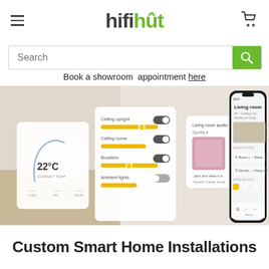hifihut
[Figure (screenshot): Search bar with green search button]
Book a showroom  appointment here
[Figure (screenshot): Smart home app interface showing living room controls, temperature 22°C, ceiling lights, ceiling curve, boosters, ambient lights controls with yellow sliders and toggles, and a phone showing the Living room screen with quick actions like Room off, Relax, Movies, Hang out]
Custom Smart Home Installations